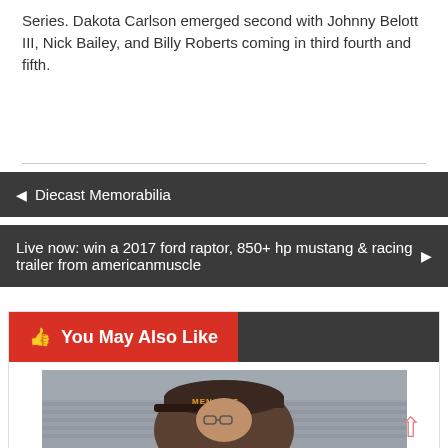Series. Dakota Carlson emerged second with Johnny Belott III, Nick Bailey, and Billy Roberts coming in third fourth and fifth.
◀ Diecast Memorabilia
Live now: win a 2017 ford raptor, 850+ hp mustang & racing trailer from americanmuscle ▶
👍 You May Also Like
[Figure (photo): Person wearing a Menards branded cap, with stadium seating visible in background]